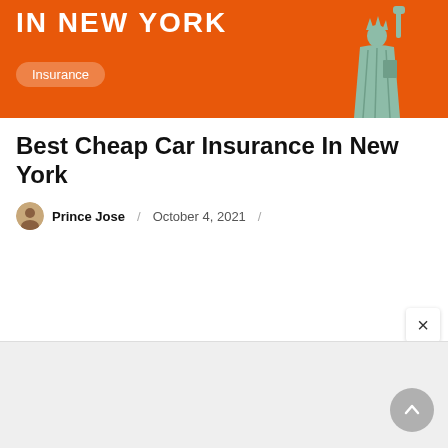[Figure (illustration): Orange banner with Statue of Liberty image and 'IN NEW YORK' text in white bold uppercase letters, with an 'Insurance' badge/pill label]
Best Cheap Car Insurance In New York
Prince Jose / October 4, 2021 /
[Figure (other): Light gray advertisement placeholder area at the bottom of the page with a close (×) button and a scroll-to-top circular button]